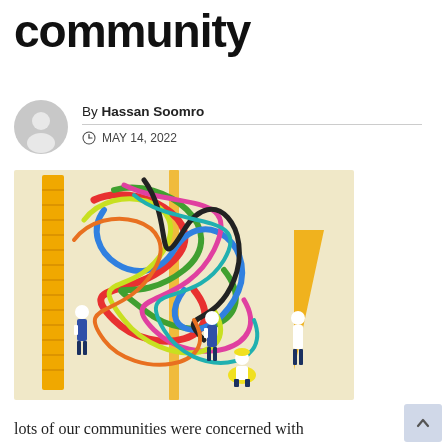community
By Hassan Soomro
MAY 14, 2022
[Figure (illustration): Colorful illustration showing small figures of people (wearing white shirts and dark pants) surrounded by tangled colorful loops/ribbons in various colors (red, green, blue, yellow, pink, dark) intertwined with large yellow rulers/measuring tools. Background is pale yellow/cream. One figure crouches in yellow, others stand around the tangle.]
lots of our communities were concerned with